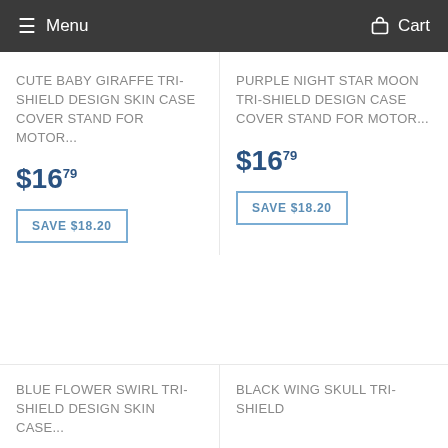Menu   Cart
CUTE BABY GIRAFFE TRI-SHIELD DESIGN SKIN CASE COVER STAND FOR MOTOR...
$16.79
SAVE $18.20
PURPLE NIGHT STAR MOON TRI-SHIELD DESIGN CASE COVER STAND FOR MOTOR...
$16.79
SAVE $18.20
BLUE FLOWER SWIRL TRI-SHIELD DESIGN SKIN CASE...
BLACK WING SKULL TRI-SHIELD